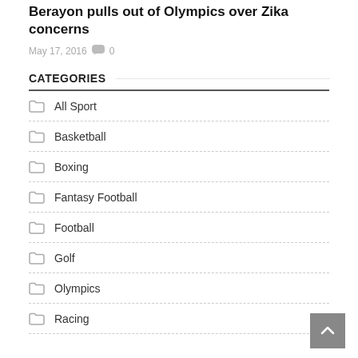Berayon pulls out of Olympics over Zika concerns
May 17, 2016  💬 0
CATEGORIES
All Sport
Basketball
Boxing
Fantasy Football
Football
Golf
Olympics
Racing